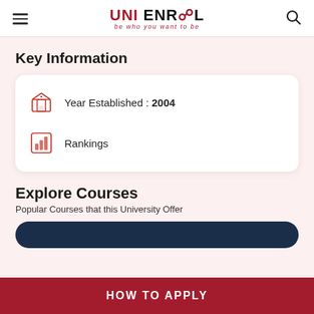UNI ENROL – be who you want to be
Key Information
Year Established : 2004
Rankings
Explore Courses
Popular Courses that this University Offer
HOW TO APPLY